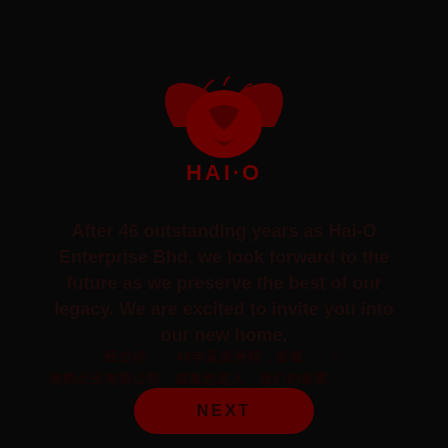[Figure (logo): Hai-O Enterprise logo: stylized bird/eagle emblem in dark red above text HAI·O]
After 46 outstanding years as Hai-O Enterprise Bhd, we look forward to the future as we preserve the best of our legacy. We are excited to invite you into our new home.
经过46年辉煌历程
海鸥机构有限公司 诚邀您进入我们的新家
了解更多 请访问我们的新网站
NEXT